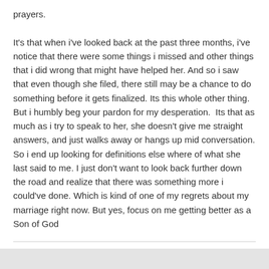prayers.

It's that when i've looked back at the past three months, i've notice that there were some things i missed and other things that i did wrong that might have helped her. And so i saw that even though she filed, there still may be a chance to do something before it gets finalized. Its this whole other thing. But i humbly beg your pardon for my desperation.  Its that as much as i try to speak to her, she doesn't give me straight answers, and just walks away or hangs up mid conversation. So i end up looking for definitions else where of what she last said to me. I just don't want to look back further down the road and realize that there was something more i could've done. Which is kind of one of my regrets about my marriage right now. But yes, focus on me getting better as a Son of God
Quote